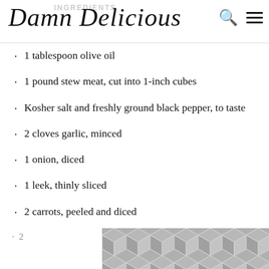Damn Delicious — INGREDIENTS
1 tablespoon olive oil
1 pound stew meat, cut into 1-inch cubes
Kosher salt and freshly ground black pepper, to taste
2 cloves garlic, minced
1 onion, diced
1 leek, thinly sliced
2 carrots, peeled and diced
1 tablespoon tomato paste
1 cup beef broth
1 cup dark stout beer*
2
[Figure (illustration): Decorative geometric hexagon pattern in grey tones at bottom right of page]